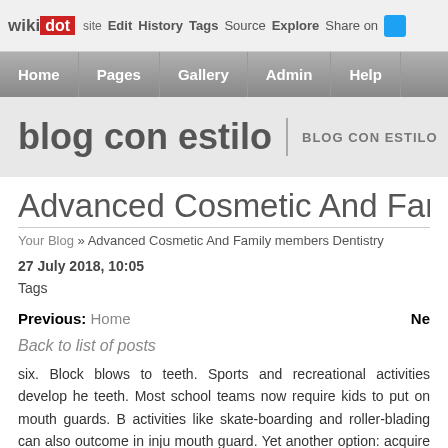wikidot | site | Edit | History | Tags | Source | Explore | Share on [Twitter]
Home | Pages | Gallery | Admin | Help
blog con estilo | BLOG CON ESTILO
Advanced Cosmetic And Family member
Your Blog » Advanced Cosmetic And Family members Dentistry
27 July 2018, 10:05
Tags
Previous: Home  Ne
Back to list of posts
six. Block blows to teeth. Sports and recreational activities develop he teeth. Most school teams now require kids to put on mouth guards. B activities like skate-boarding and roller-blading can also outcome in inju mouth guard. Yet another option: acquire a mouth guard at a sporting goo water to type fit your mouth.Are you on any drugs? They could be caus particularly dry mouth. click through the next website Dry mouth is mu harmful for your basic dental health as it permits plaque to adhere f